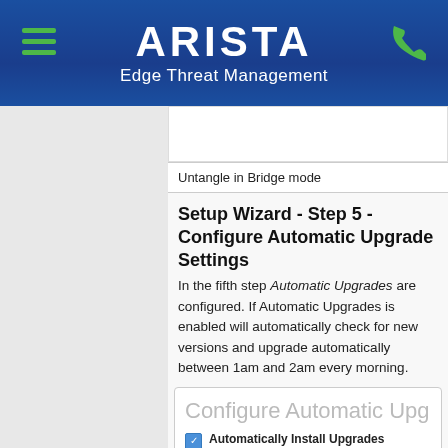[Figure (screenshot): Arista Edge Threat Management header bar with hamburger menu on the left, ARISTA logo in center, phone icon on right, and 'Edge Threat Management' subtitle]
Untangle in Bridge mode
Setup Wizard - Step 5 - Configure Automatic Upgrade Settings
In the fifth step Automatic Upgrades are configured. If Automatic Upgrades is enabled will automatically check for new versions and upgrade automatically between 1am and 2am every morning.
[Figure (screenshot): Configure Automatic Upgrades panel with a checked 'Automatically Install Upgrades' checkbox and description text below]